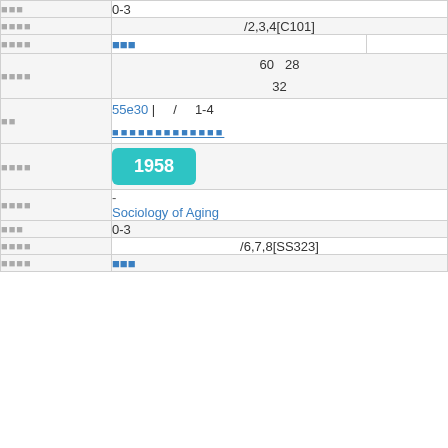| [label] | 0-3 |
| [label] | /2,3,4[C101] |
| [label] | [link] |
| [label] | 60  28
32 |
| [label] | 55e30 | / 1-4
[underline text] |
| [label] | 1958 |
| [label] | -
Sociology of Aging |
| [label] | 0-3 |
| [label] | /6,7,8[SS323] |
| [label] | [link] |